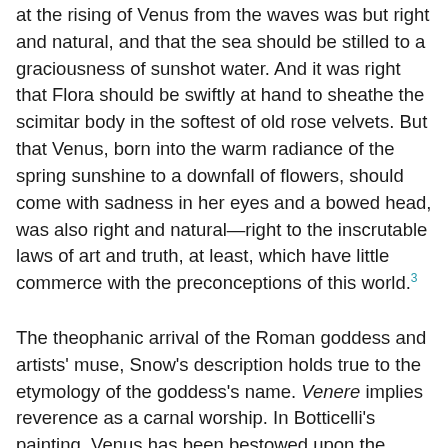at the rising of Venus from the waves was but right and natural, and that the sea should be stilled to a graciousness of sunshot water. And it was right that Flora should be swiftly at hand to sheathe the scimitar body in the softest of old rose velvets. But that Venus, born into the warm radiance of the spring sunshine to a downfall of flowers, should come with sadness in her eyes and a bowed head, was also right and natural—right to the inscrutable laws of art and truth, at least, which have little commerce with the preconceptions of this world.³
The theophanic arrival of the Roman goddess and artists' muse, Snow's description holds true to the etymology of the goddess's name. Venere implies reverence as a carnal worship. In Botticelli's painting, Venus has been bestowed upon the shore of the world in human form, given figure in an entirely mature conception; the goddess arrives on the earth in an adult body free of the impurities of the personal histories of development. Her conception is like the work of artifice. She arrives to the observer as